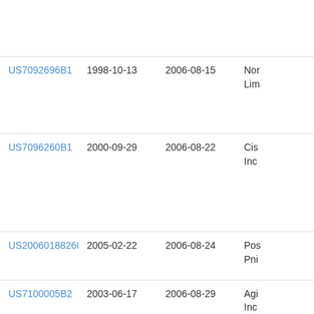| Patent | Filing Date | Publication Date | Assignee |
| --- | --- | --- | --- |
| US7092696B1 | 1998-10-13 | 2006-08-15 | Nor Lin |
| US7096260B1 | 2000-09-29 | 2006-08-22 | Cis Inc |
| US20060188260A1 | 2005-02-22 | 2006-08-24 | Pos Pni |
| US7100005B2 | 2003-06-17 | 2006-08-29 | Agi Inc |
| US7099942B1 | 2001-12-12 | 2006-08-29 | Bel Pro |